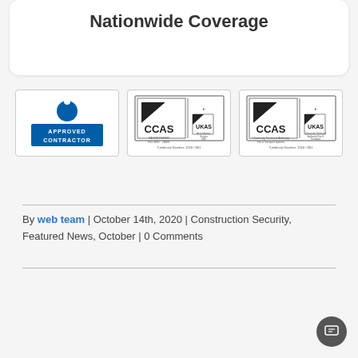Nationwide Coverage
[Figure (logo): SIA Approved Contractor logo — blue circular SIA emblem with text APPROVED CONTRACTOR below]
[Figure (logo): CCAS / UKAS Accreditation Services logo with Certificate Number 2016/801 — ISO 9001/18001 registered]
[Figure (logo): CCAS / UKAS Accreditation Services logo with Certificate Number 2016/801 — University Technical Authority Fire & Transport Systems]
By web team | October 14th, 2020 | Construction Security, Featured News, October | 0 Comments